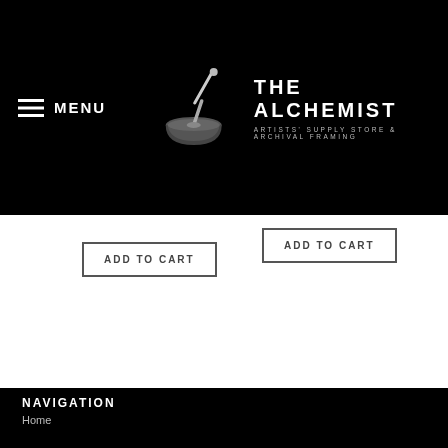MENU | The Alchemist — ARTISTS' SUPPLY STORE & ARCHIVAL FRAMING
ADD TO CART
ADD TO CART
NAVIGATION
Home